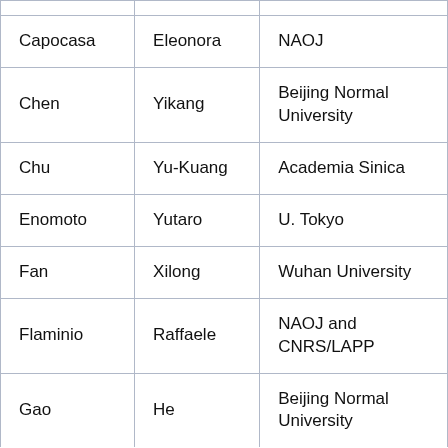| Capocasa | Eleonora | NAOJ |
| Chen | Yikang | Beijing Normal University |
| Chu | Yu-Kuang | Academia Sinica |
| Enomoto | Yutaro | U. Tokyo |
| Fan | Xilong | Wuhan University |
| Flaminio | Raffaele | NAOJ and CNRS/LAPP |
| Gao | He | Beijing Normal University |